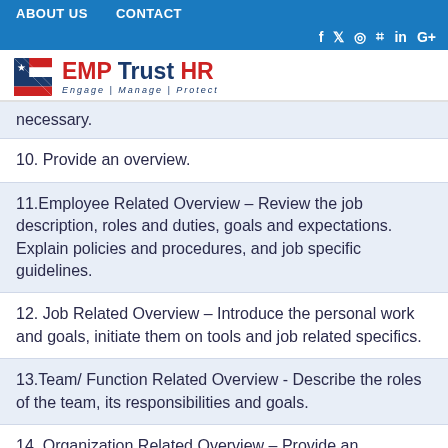ABOUT US   CONTACT
[Figure (logo): EMP Trust HR logo with American flag icon and tagline Engage | Manage | Protect]
necessary.
10. Provide an overview.
11.Employee Related Overview – Review the job description, roles and duties, goals and expectations. Explain policies and procedures, and job specific guidelines.
12. Job Related Overview – Introduce the personal work and goals, initiate them on tools and job related specifics.
13.Team/ Function Related Overview - Describe the roles of the team, its responsibilities and goals.
14. Organization Related Overview – Provide an